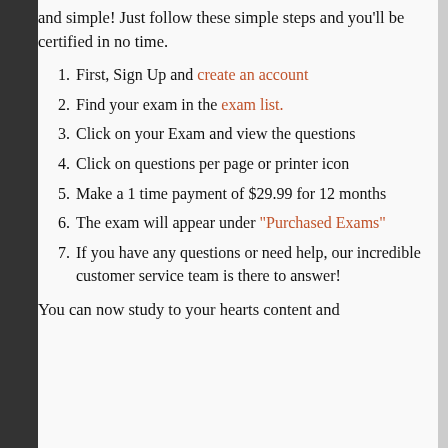and simple! Just follow these simple steps and you'll be certified in no time.
First, Sign Up and create an account
Find your exam in the exam list.
Click on your Exam and view the questions
Click on questions per page or printer icon
Make a 1 time payment of $29.99 for 12 months
The exam will appear under “Purchased Exams”
If you have any questions or need help, our incredible customer service team is there to answer!
You can now study to your hearts content and